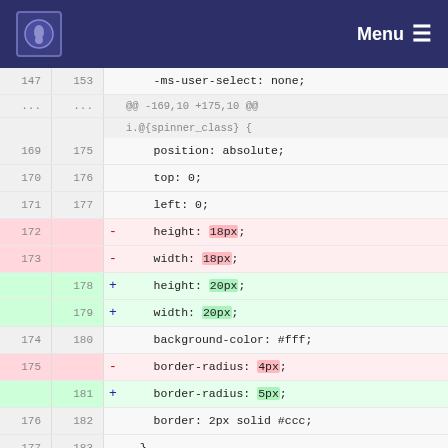Menu
[Figure (screenshot): Code diff view showing CSS changes. Lines 147/153 through 209/215. Removed lines (172,173,175) show height: 18px, width: 18px, border-radius: 4px. Added lines (178,179,181) show height: 20px, width: 20px, border-radius: 5px. Context lines show position: absolute, top: 0, left: 0, background-color: #fff, border: 2px solid #ccc, }, blank line, hunk header @@ -209,9 +215,9 @@ i.@{spinner_class} {, and /* Style the indicator (dot/circle) */]